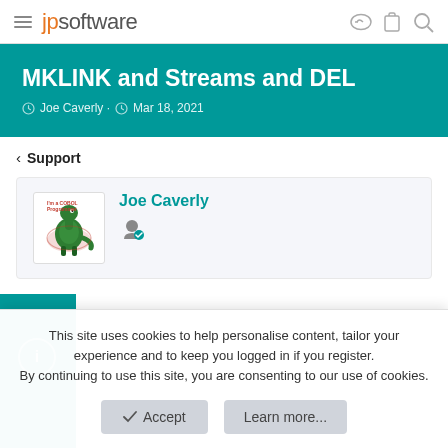jpsoftware
MKLINK and Streams and DEL
Joe Caverly · Mar 18, 2021
< Support
Joe Caverly
This site uses cookies to help personalise content, tailor your experience and to keep you logged in if you register. By continuing to use this site, you are consenting to our use of cookies.
Accept    Learn more...